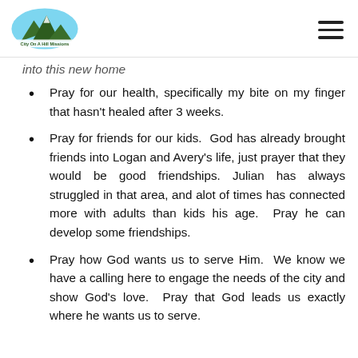City On A Hill Missions logo and navigation
into this new home
Pray for our health, specifically my bite on my finger that hasn't healed after 3 weeks.
Pray for friends for our kids. God has already brought friends into Logan and Avery's life, just prayer that they would be good friendships. Julian has always struggled in that area, and alot of times has connected more with adults than kids his age. Pray he can develop some friendships.
Pray how God wants us to serve Him. We know we have a calling here to engage the needs of the city and show God's love. Pray that God leads us exactly where he wants us to serve.